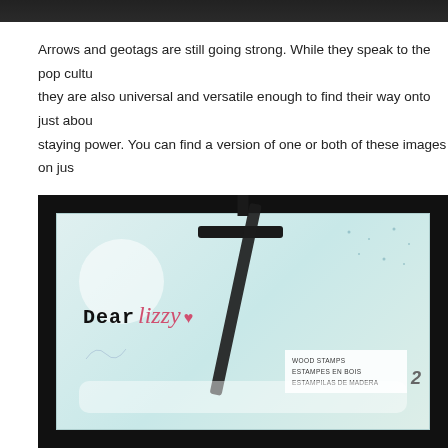[Figure (photo): Top edge of a dark/black photograph cropped at the top of the page]
Arrows and geotags are still going strong. While they speak to the pop cultu they are also universal and versatile enough to find their way onto just abou staying power. You can find a version of one or both of these images on jus
[Figure (photo): Product packaging for Dear Lizzy Wood Stamps (Estampes en Bois / Estampillas de Madera), quantity 2, displayed hanging on a black peg hook against a dark background. The packaging features a teal/mint color with the Dear Lizzy logo where 'Dear' is in typewriter font and 'Lizzy' is in pink cursive script with a heart.]